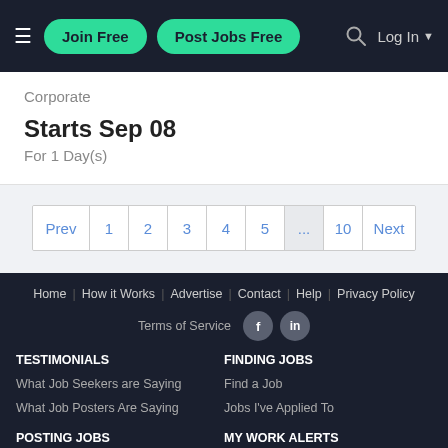Join Free | Post Jobs Free | Log In
Corporate
Starts Sep 08
For 1 Day(s)
Prev 1 2 3 4 5 ... 10 Next
Home | How it Works | Advertise | Contact | Help | Privacy Policy | Terms of Service | TESTIMONIALS | What Job Seekers are Saying | What Job Posters Are Saying | FINDING JOBS | Find a Job | Jobs I've Applied To | POSTING JOBS | MY WORK ALERTS